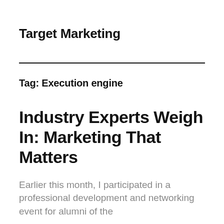Target Marketing
Tag: Execution engine
Industry Experts Weigh In: Marketing That Matters
Earlier this month, I participated in a professional development and networking event for alumni of the